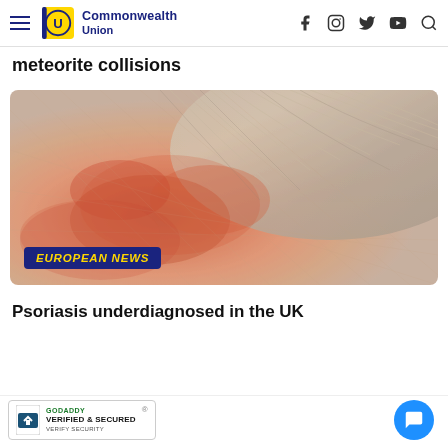Commonwealth Union
meteorite collisions
[Figure (photo): Close-up photograph of a scalp with psoriasis showing red, inflamed, scaly skin with grey/blonde hair, with a blue badge overlay reading 'EUROPEAN NEWS' in gold italic text]
Psoriasis underdiagnosed in the UK